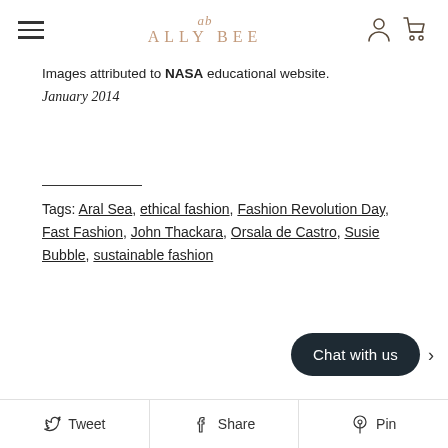ALLY BEE
Images attributed to NASA educational website.
January 2014
Tags: Aral Sea, ethical fashion, Fashion Revolution Day, Fast Fashion, John Thackara, Orsala de Castro, Susie Bubble, sustainable fashion